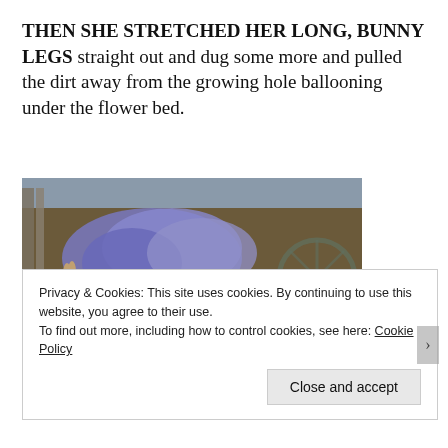THEN SHE STRETCHED HER LONG, BUNNY LEGS straight out and dug some more and pulled the dirt away from the growing hole ballooning under the flower bed.
[Figure (photo): A rabbit digging near purple flowering plants in a garden/flower bed with wooden fence and decorative wagon wheel visible in background]
Privacy & Cookies: This site uses cookies. By continuing to use this website, you agree to their use.
To find out more, including how to control cookies, see here: Cookie Policy
Close and accept